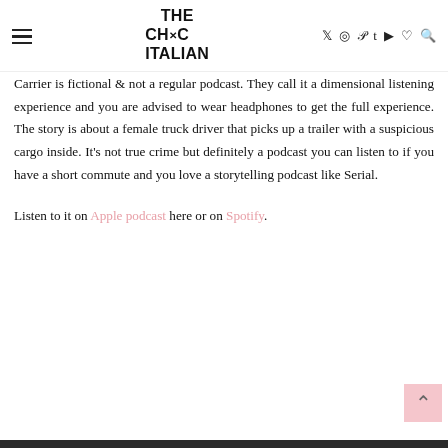THE CHIC ITALIAN — navigation header with social icons
Carrier is fictional & not a regular podcast. They call it a dimensional listening experience and you are advised to wear headphones to get the full experience. The story is about a female truck driver that picks up a trailer with a suspicious cargo inside. It’s not true crime but definitely a podcast you can listen to if you have a short commute and you love a storytelling podcast like Serial.
Listen to it on Apple podcast here or on Spotify.